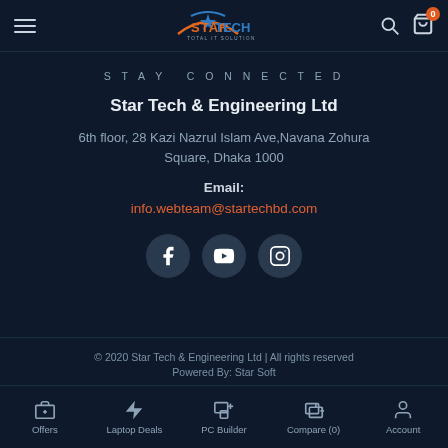Star Tech & Engineering Ltd — navigation header with logo, hamburger menu, search and cart icons
STAY CONNECTED
Star Tech & Engineering Ltd
6th floor, 28 Kazi Nazrul Islam Ave,Navana Zohura Square, Dhaka 1000
Email:
info.webteam@startechbd.com
[Figure (infographic): Three social media icons in dark circles: Facebook, YouTube, Instagram]
© 2020 Star Tech & Engineering Ltd | All rights reserved
Powered By: Star Soft
Bottom navigation bar: Offers, Laptop Deals, PC Builder, Compare (0), Account